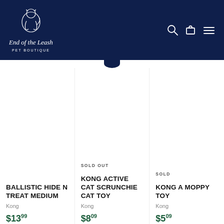[Figure (logo): End of the Leash Pet Boutique logo — outline drawing of a sitting dog/cat, white on navy, with italic script text 'End of the Leash' and uppercase 'PET BOUTIQUE' below, plus search, cart, and hamburger menu icons on the right]
SOLD OUT
BALLISTIC HIDE N TREAT MEDIUM
Kong
$13.99
KONG ACTIVE CAT SCRUNCHIE CAT TOY
Kong
$8.09
SOLD
KONG A MOPPY TOY
Kong
$5.09